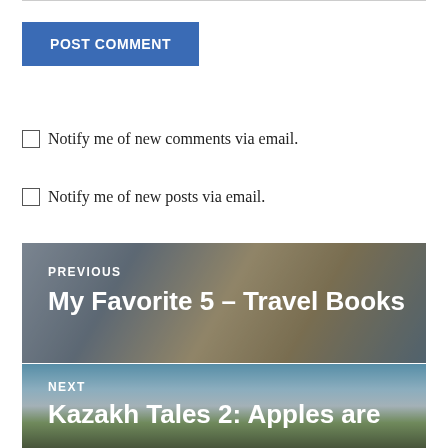POST COMMENT
Notify me of new comments via email.
Notify me of new posts via email.
[Figure (photo): Navigation card showing travel books image with PREVIOUS label and title 'My Favorite 5 – Travel Books']
[Figure (photo): Navigation card showing mountain/landscape image with NEXT label and title 'Kazakh Tales 2: Apples are']